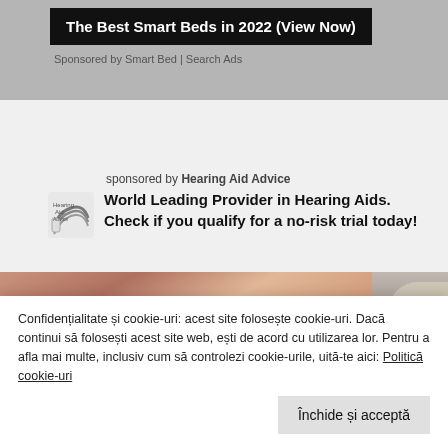[Figure (screenshot): Top advertisement banner with dark background reading 'The Best Smart Beds in 2022 (View Now)' on gray background]
Sponsored by Smart Bed | Search Ads
sponsored by Hearing Aid Advice
World Leading Provider in Hearing Aids. Check if you qualify for a no-risk trial today!
[Figure (photo): Close-up photo of hands holding tiny hearing aids, with partial view of person on right side]
Confidențialitate și cookie-uri: acest site folosește cookie-uri. Dacă continui să folosești acest site web, ești de acord cu utilizarea lor. Pentru a afla mai multe, inclusiv cum să controlezi cookie-urile, uită-te aici: Politică cookie-uri
Închide și acceptă